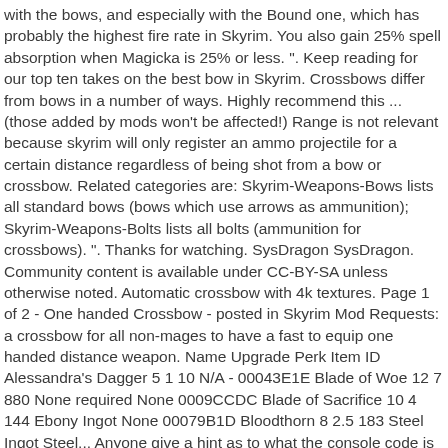with the bows, and especially with the Bound one, which has probably the highest fire rate in Skyrim. You also gain 25% spell absorption when Magicka is 25% or less. ". Keep reading for our top ten takes on the best bow in Skyrim. Crossbows differ from bows in a number of ways. Highly recommend this ... (those added by mods won't be affected!) Range is not relevant because skyrim will only register an ammo projectile for a certain distance regardless of being shot from a bow or crossbow. Related categories are: Skyrim-Weapons-Bows lists all standard bows (bows which use arrows as ammunition); Skyrim-Weapons-Bolts lists all bolts (ammunition for crossbows). ". Thanks for watching. SysDragon SysDragon. Community content is available under CC-BY-SA unless otherwise noted. Automatic crossbow with 4k textures. Page 1 of 2 - One handed Crossbow - posted in Skyrim Mod Requests: a crossbow for all non-mages to have a fast to equip one handed distance weapon. Name Upgrade Perk Item ID Alessandra's Dagger 5 1 10 N/A - 00043E1E Blade of Woe 12 7 880 None required None 0009CCDC Blade of Sacrifice 10 4 144 Ebony Ingot None 00079B1D Bloodthorn 8 2.5 183 Steel Ingot Steel... Anyone give a hint as to what the console code is for the misc quest 'Help Sorine with her project to improve the Crossbow" and how to setstage. Assuming they are both enchanted with Frost